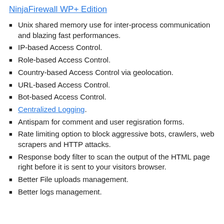NinjaFirewall WP+ Edition
Unix shared memory use for inter-process communication and blazing fast performances.
IP-based Access Control.
Role-based Access Control.
Country-based Access Control via geolocation.
URL-based Access Control.
Bot-based Access Control.
Centralized Logging.
Antispam for comment and user regisration forms.
Rate limiting option to block aggressive bots, crawlers, web scrapers and HTTP attacks.
Response body filter to scan the output of the HTML page right before it is sent to your visitors browser.
Better File uploads management.
Better logs management.